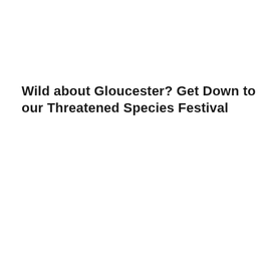Wild about Gloucester? Get Down to our Threatened Species Festival